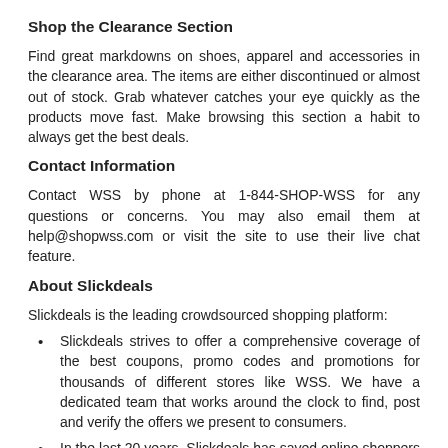Shop the Clearance Section
Find great markdowns on shoes, apparel and accessories in the clearance area. The items are either discontinued or almost out of stock. Grab whatever catches your eye quickly as the products move fast. Make browsing this section a habit to always get the best deals.
Contact Information
Contact WSS by phone at 1-844-SHOP-WSS for any questions or concerns. You may also email them at help@shopwss.com or visit the site to use their live chat feature.
About Slickdeals
Slickdeals is the leading crowdsourced shopping platform:
Slickdeals strives to offer a comprehensive coverage of the best coupons, promo codes and promotions for thousands of different stores like WSS. We have a dedicated team that works around the clock to find, post and verify the offers we present to consumers.
In the last 20 years, Slickdeals has saved online shoppers over $6.8 billion.
We have 11 million active savvy shoppers, you can join